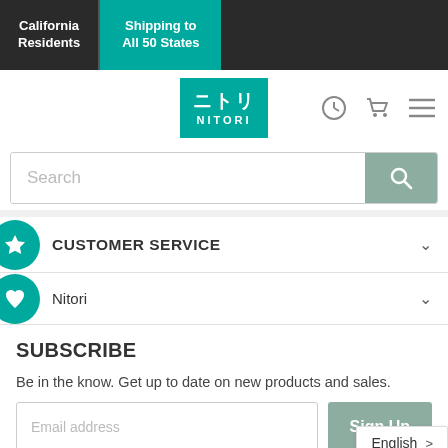California Residents | Shipping to All 50 States
[Figure (logo): Nitori logo - teal square with Japanese characters and NITORI text]
Search
CUSTOMER SERVICE
Nitori
SUBSCRIBE
Be in the know.  Get up to date on new products and sales.
Email address
Sign Up
English